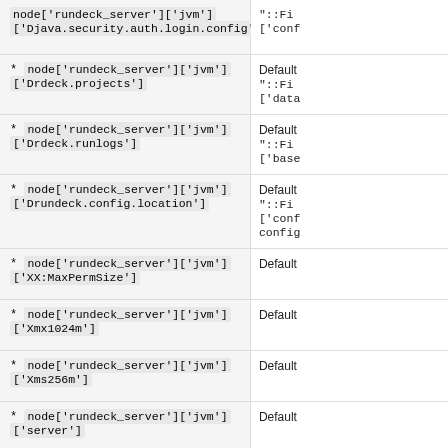* node['rundeck_server']['jvm']['Djava.security.auth.login.config']
"::Fi ['conf
* node['rundeck_server']['jvm']['Drdeck.projects']
Default "::Fi ['data
* node['rundeck_server']['jvm']['Drdeck.runlogs']
Default "::Fi ['base
* node['rundeck_server']['jvm']['Drundeck.config.location']
Default "::Fi ['conf config
* node['rundeck_server']['jvm']['XX:MaxPermSize']
Default
* node['rundeck_server']['jvm']['Xmx1024m']
Default
* node['rundeck_server']['jvm']['Xms256m']
Default
* node['rundeck_server']['jvm']['server']
Default